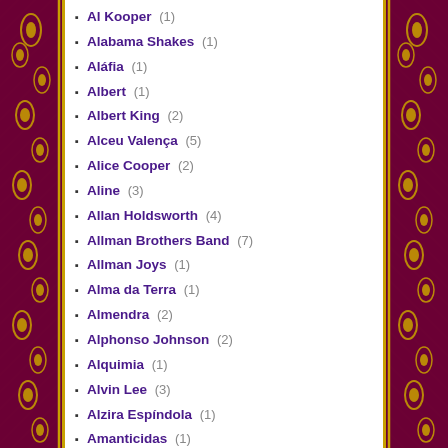Al Kooper (1)
Alabama Shakes (1)
Aláfia (1)
Albert (1)
Albert King (2)
Alceu Valença (5)
Alice Cooper (2)
Aline (3)
Allan Holdsworth (4)
Allman Brothers Band (7)
Allman Joys (1)
Alma da Terra (1)
Almendra (2)
Alphonso Johnson (2)
Alquimia (1)
Alvin Lee (3)
Alzira Espíndola (1)
Amanticidas (1)
Amboy Dukes (1)
Amish (1)
André Christovam (2)
Andromeda (2)